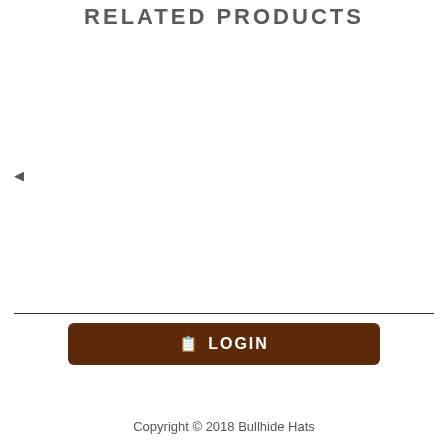RELATED PRODUCTS
◄
LOGIN
Copyright © 2018 Bullhide Hats